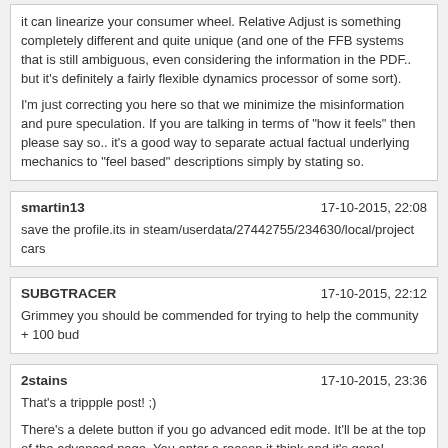it can linearize your consumer wheel. Relative Adjust is something completely different and quite unique (and one of the FFB systems that is still ambiguous, even considering the information in the PDF.. but it's definitely a fairly flexible dynamics processor of some sort).

I'm just correcting you here so that we minimize the misinformation and pure speculation. If you are talking in terms of "how it feels" then please say so.. it's a good way to separate actual factual underlying mechanics to "feel based" descriptions simply by stating so.
smartin13 | 17-10-2015, 22:08
save the profile.its in steam/userdata/27442755/234630/local/project cars
SUBGTRACER | 17-10-2015, 22:12
Grimmey you should be commended for trying to help the community + 100 bud
2stains | 17-10-2015, 23:36
That's a trippple post! ;)

There's a delete button if you go advanced edit mode. It'll be at the top of the advanced page. You enter a reason it think and it's gone!

Cheers!

Double triple whats it matter . Just goes in with all the other shitty post in this forum i guess.
GrimeyDog | 17-10-2015, 23:54
Eh? This is not true at all. They are two completely separate and different